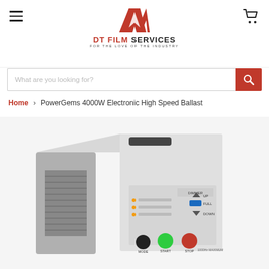[Figure (logo): DT Film Services logo with red triangular graphic and text 'DT FILM SERVICES — FOR THE LOVE OF THE INDUSTRY']
[Figure (other): Search bar with placeholder 'What are you looking for?' and red search button]
Home > PowerGems 4000W Electronic High Speed Ballast
[Figure (photo): Photo of a PowerGems 4000W Electronic High Speed Ballast device, a silver metal box with control panel featuring MODE, START, STOP buttons and DIMMER controls (UP, FULL, DOWN)]